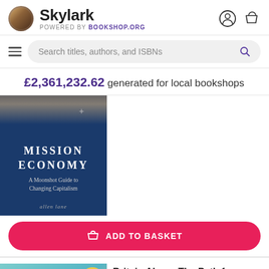Skylark — POWERED BY Bookshop.org
Search titles, authors, and ISBNs
£2,361,232.62 generated for local bookshops
[Figure (photo): Book cover: Mission Economy – A Moonshot Guide to Changing Capitalism, allen lane, dark navy blue cover]
ADD TO BASKET
[Figure (photo): Book cover: Britain Alone – The Path from Suez to Brexit by Philip Stephens, teal/colourful cover with NEW AND UPDATED EDITION badge]
Britain Alone: The Path from Suez to Brexit
Philip Stephens
£10.99